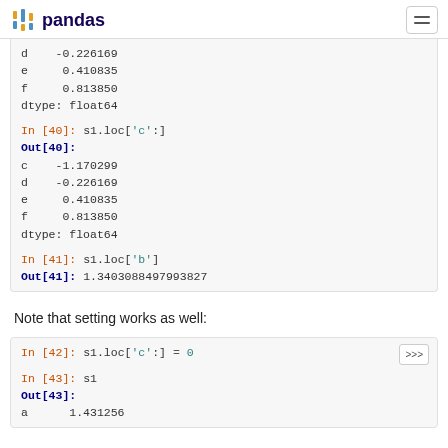pandas
d    -0.226169
e     0.410835
f     0.813850
dtype: float64

In [40]: s1.loc['c':]
Out[40]:
c    -1.170299
d    -0.226169
e     0.410835
f     0.813850
dtype: float64

In [41]: s1.loc['b']
Out[41]: 1.3403088497993827
Note that setting works as well:
In [42]: s1.loc['c':] = 0

In [43]: s1
Out[43]:
a     1.431256